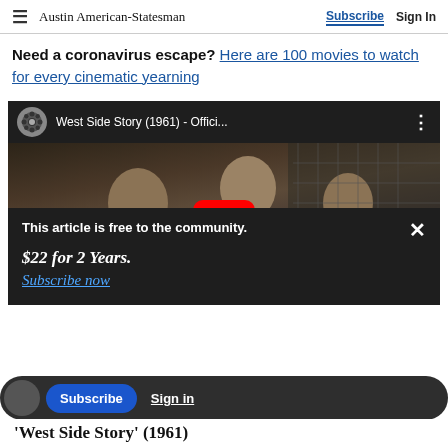Austin American-Statesman | Subscribe | Sign In
Need a coronavirus escape? Here are 100 movies to watch for every cinematic yearning
[Figure (screenshot): YouTube video thumbnail for 'West Side Story (1961) - Offici...' showing three young men against a chain-link fence with a red YouTube play button overlay]
This article is free to the community.
$22 for 2 Years.
Subscribe now
'West Side Story' (1961)